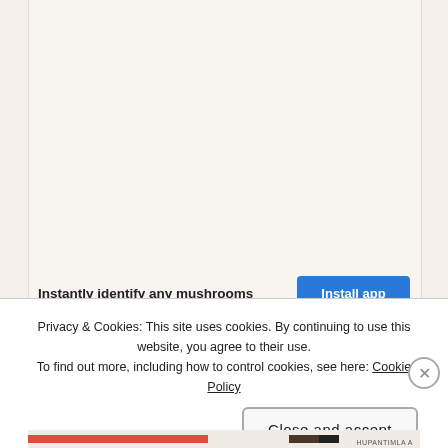[Figure (screenshot): Screenshot of a website page with a light beige background, showing a partial mushroom identification app banner and a cookie consent overlay popup.]
Instantly identify any mushrooms
Install app
Privacy & Cookies: This site uses cookies. By continuing to use this website, you agree to their use.
To find out more, including how to control cookies, see here: Cookie Policy
Close and accept